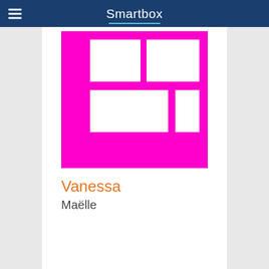Smartbox
[Figure (logo): Smartbox brand tile logo — magenta/pink square containing an arrangement of white rectangles in a grid/brick pattern, resembling the Smartbox AAC software logo]
Vanessa
Maëlle